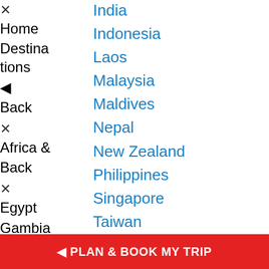India
Indonesia
Laos
Malaysia
Maldives
Nepal
New Zealand
Philippines
Singapore
Taiwan
Thailand
Vietnam
China
Japan
South Korea
× Home
Destinations
Back
× Africa & Back
× Egypt
Gambia
Israel
Jordan
PLAN & BOOK MY TRIP